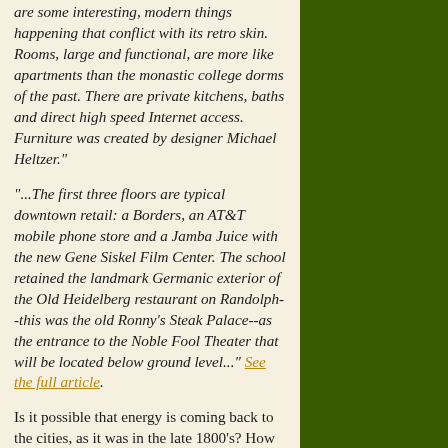are some interesting, modern things happening that conflict with its retro skin. Rooms, large and functional, are more like apartments than the monastic college dorms of the past. There are private kitchens, baths and direct high speed Internet access. Furniture was created by designer Michael Heltzer."
"...The first three floors are typical downtown retail: a Borders, an AT&T mobile phone store and a Jamba Juice with the new Gene Siskel Film Center. The school retained the landmark Germanic exterior of the Old Heidelberg restaurant on Randolph--this was the old Ronny's Steak Palace--as the entrance to the Noble Fool Theater that will be located below ground level..." See the full article.
Is it possible that energy is coming back to the cities, as it was in the late 1800's? How about an urban home-based business? If the Small Business Tax Cuts pass then entertainment deductions will go to 80%, IRC Section 179 deductions will